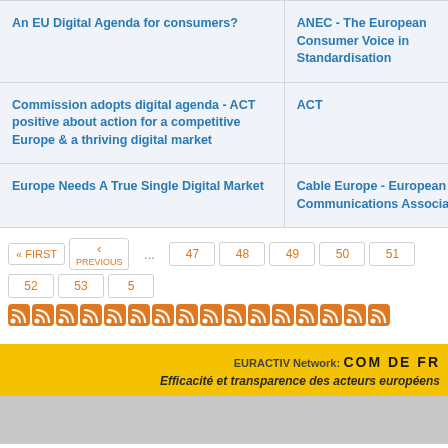| Title | Source |
| --- | --- |
| An EU Digital Agenda for consumers? | ANEC - The European Consumer Voice in Standardisation |
| Commission adopts digital agenda - ACT positive about action for a competitive Europe & a thriving digital market | ACT |
| Europe Needs A True Single Digital Market | Cable Europe - European Cable Communications Association |
« FIRST  ‹ PREVIOUS  ...  47  48  49  50  51  52  53  5
[Figure (infographic): Row of RSS feed icons (orange)]
EURACTIV Network: COM DE FR  |  Efficacité et transparence des acteurs européens